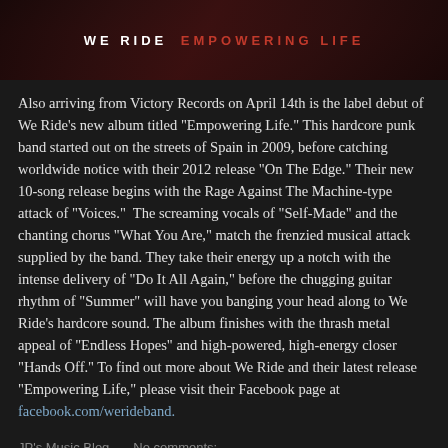WE RIDE EMPOWERING LIFE
Also arriving from Victory Records on April 14th is the label debut of We Ride's new album titled "Empowering Life." This hardcore punk band started out on the streets of Spain in 2009, before catching worldwide notice with their 2012 release "On The Edge." Their new 10-song release begins with the Rage Against The Machine-type attack of "Voices."  The screaming vocals of "Self-Made" and the chanting chorus "What You Are," match the frenzied musical attack supplied by the band. They take their energy up a notch with the intense delivery of "Do It All Again," before the chugging guitar rhythm of "Summer" will have you banging your head along to We Ride's hardcore sound. The album finishes with the thrash metal appeal of "Endless Hopes" and high-powered, high-energy closer "Hands Off." To find out more about We Ride and their latest release "Empowering Life," please visit their Facebook page at facebook.com/werideband.
JP's Music Blog    No comments: